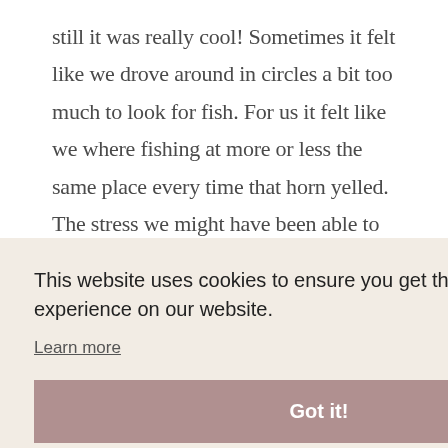still it was really cool! Sometimes it felt like we drove around in circles a bit too much to look for fish. For us it felt like we where fishing at more or less the same place every time that horn yelled. The stress we might have been able to control ourselves because we could have chosen not to jig every time but ... we paid for it so we better fish right!
This website uses cookies to ensure you get the best experience on our website.
Learn more
Got it!